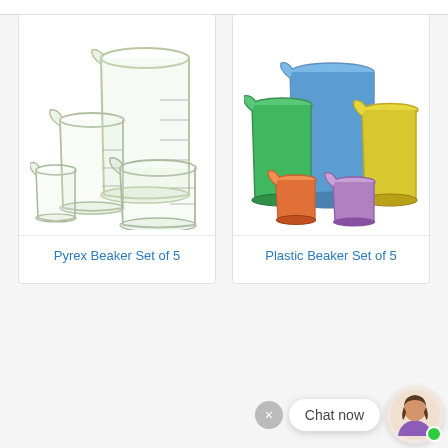[Figure (photo): Set of 5 glass Pyrex beakers of various sizes arranged together on white background]
Pyrex Beaker Set of 5
[Figure (photo): Set of 5 plastic beakers filled with colored liquids: green, blue, orange, purple, yellow]
Plastic Beaker Set of 5
[Figure (other): Chat now widget with close button, chat bubble, and avatar of a woman with green online indicator dot]